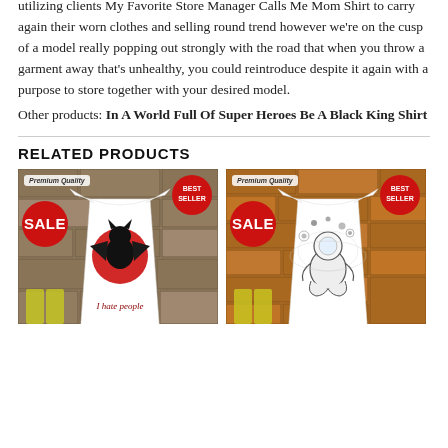utilizing clients My Favorite Store Manager Calls Me Mom Shirt to carry again their worn clothes and selling round trend however we're on the cusp of a model really popping out strongly with the road that when you throw a garment away that's unhealthy, you could reintroduce despite it again with a purpose to store together with your desired model.
Other products: In A World Full Of Super Heroes Be A Black King Shirt
RELATED PRODUCTS
[Figure (photo): White t-shirt with black cat and red moon graphic, text 'I hate people', on stone background. SALE badge, Premium Quality badge, Best Seller badge.]
[Figure (photo): White t-shirt with astronaut meditating in space with planets graphic, on orange/brick background. SALE badge, Premium Quality badge, Best Seller badge.]